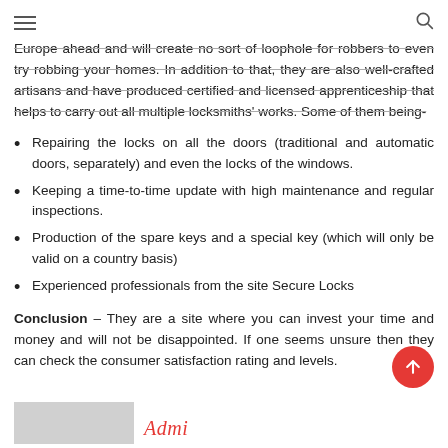[hamburger menu icon] [search icon]
Europe ahead and will create no sort of loophole for robbers to even try robbing your homes. In addition to that, they are also well-crafted artisans and have produced certified and licensed apprenticeship that helps to carry out all multiple locksmiths' works. Some of them being-
Repairing the locks on all the doors (traditional and automatic doors, separately) and even the locks of the windows.
Keeping a time-to-time update with high maintenance and regular inspections.
Production of the spare keys and a special key (which will only be valid on a country basis)
Experienced professionals from the site Secure Locks
Conclusion – They are a site where you can invest your time and money and will not be disappointed. If one seems unsure then they can check the consumer satisfaction rating and levels.